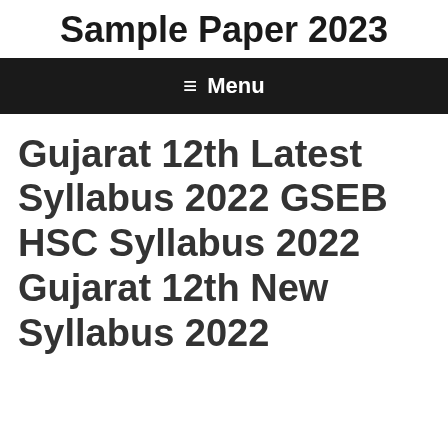Sample Paper 2023
≡ Menu
Gujarat 12th Latest Syllabus 2022 GSEB HSC Syllabus 2022 Gujarat 12th New Syllabus 2022